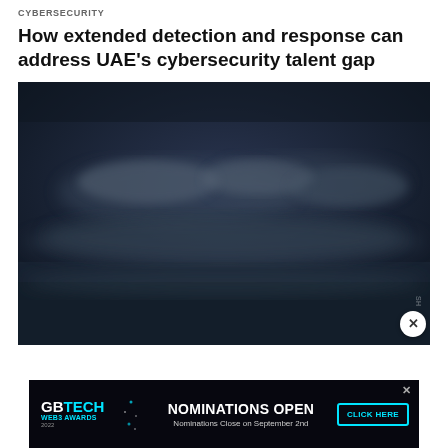CYBERSECURITY
How extended detection and response can address UAE's cybersecurity talent gap
[Figure (photo): Dark moody sky with clouds, cybersecurity themed atmospheric photo]
[Figure (infographic): Advertisement banner: GB TECH WEB3 AWARDS 2022 - NOMINATIONS OPEN - Nominations Close on September 2nd - CLICK HERE button]